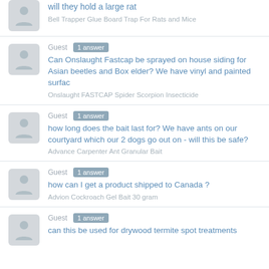will they hold a large rat
Bell Trapper Glue Board Trap For Rats and Mice
Guest  1 answer
Can Onslaught Fastcap be sprayed on house siding for Asian beetles and Box elder? We have vinyl and painted surfac
Onslaught FASTCAP Spider Scorpion Insecticide
Guest  1 answer
how long does the bait last for? We have ants on our courtyard which our 2 dogs go out on - will this be safe?
Advance Carpenter Ant Granular Bait
Guest  1 answer
how can I get a product shipped to Canada ?
Advion Cockroach Gel Bait 30 gram
Guest  1 answer
can this be used for drywood termite spot treatments